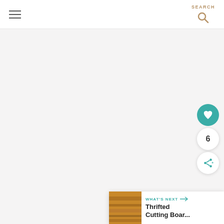Navigation bar with hamburger menu and SEARCH icon
[Figure (screenshot): Large light gray/off-white content area placeholder]
[Figure (infographic): Floating action buttons: teal heart button, count badge showing 6, share button]
[Figure (infographic): What's Next card with thumbnail of wood cutting board, label WHAT'S NEXT with arrow, title Thrifted Cutting Boar...]